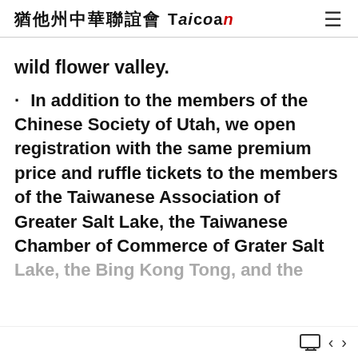猶他州中華聯誼會 Taiwan ≡
wild flower valley.
· In addition to the members of the Chinese Society of Utah, we open registration with the same premium price and ruffle tickets to the members of the Taiwanese Association of Greater Salt Lake, the Taiwanese Chamber of Commerce of Grater Salt Lake, the Bing Kong Tong, and the
◀ ▶